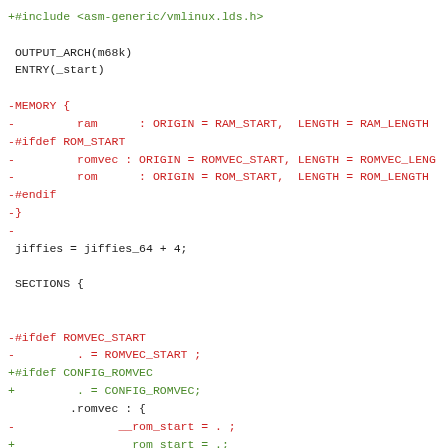+#include <asm-generic/vmlinux.lds.h>

 OUTPUT_ARCH(m68k)
 ENTRY(_start)

-MEMORY {
-         ram      : ORIGIN = RAM_START, LENGTH = RAM_LENGTH
-#ifdef ROM_START
-         romvec : ORIGIN = ROMVEC_START, LENGTH = ROMVEC_LENG
-         rom     : ORIGIN = ROM_START, LENGTH = ROM_LENGTH
-#endif
-}
-
 jiffies = jiffies_64 + 4;

 SECTIONS {


-#ifdef ROMVEC_START
-         . = ROMVEC_START ;
+#ifdef CONFIG_ROMVEC
+         . = CONFIG_ROMVEC;
         .romvec : {
-               __rom_start = . ;
+               __rom_start = .;
         romvec = .;